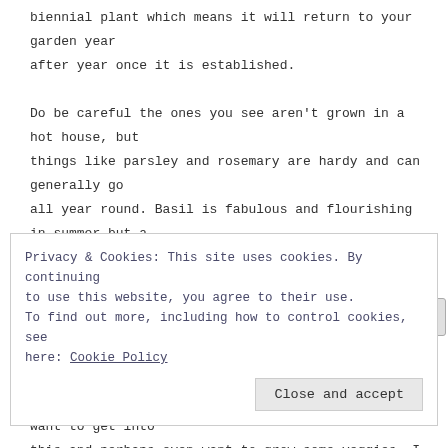biennial plant which means it will return to your garden year after year once it is established.

Do be careful the ones you see aren't grown in a hot house, but things like parsley and rosemary are hardy and can generally go all year round. Basil is fabulous and flourishing in summer but a bit harder to grow as it and does not like the Winter frost. (I haven't yet experimented with indoor plants.) In summer you may have a problem deciding which herbs to plant because of the large number of herbs from which to select. If you do want to get into this and perhaps even want to grow some veggies, I have discovered kitchenfarmer.com.au who "design and build abundant home food gardens for any apartment, backyard or property". Many cookbooks also offer information on uses of various herbs as flavorings and
Privacy & Cookies: This site uses cookies. By continuing to use this website, you agree to their use.
To find out more, including how to control cookies, see here: Cookie Policy

Close and accept